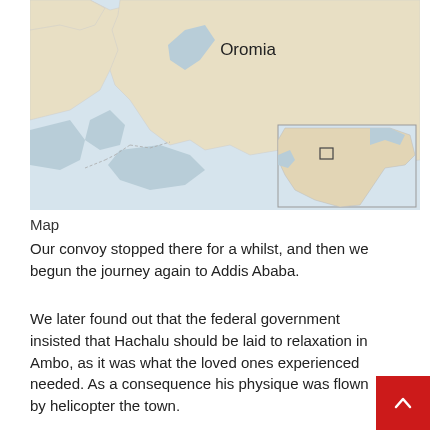[Figure (map): Map of Oromia region showing land masses in tan/beige and water bodies in light blue-grey. An inset map in the lower right shows the location of the region within Africa, with a small square marker. The label 'Oromia' is shown in the upper center of the main map.]
Map
Our convoy stopped there for a whilst, and then we begun the journey again to Addis Ababa.
We later found out that the federal government insisted that Hachalu should be laid to relaxation in Ambo, as it was what the loved ones experienced needed. As a consequence his physique was flown by helicopter the town.